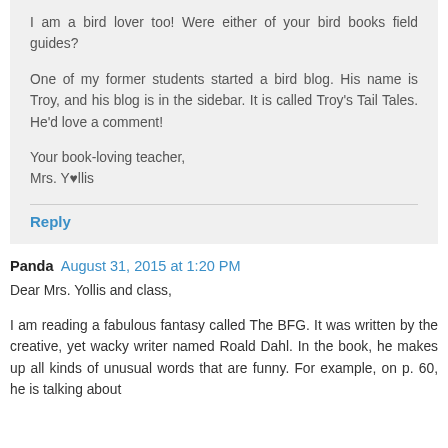I am a bird lover too! Were either of your bird books field guides?

One of my former students started a bird blog. His name is Troy, and his blog is in the sidebar. It is called Troy's Tail Tales. He'd love a comment!

Your book-loving teacher,
Mrs. Y♥llis
Reply
Panda  August 31, 2015 at 1:20 PM
Dear Mrs. Yollis and class,
I am reading a fabulous fantasy called The BFG. It was written by the creative, yet wacky writer named Roald Dahl. In the book, he makes up all kinds of unusual words that are funny. For example, on p. 60, he is talking about